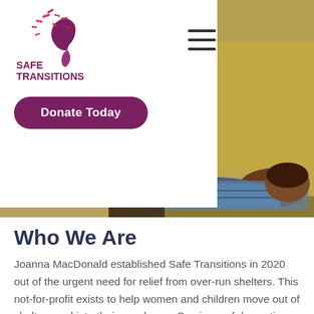[Figure (logo): Safe Transitions logo with woman's silhouette and butterflies, text reading SAFE TRANSITIONS in dark red/maroon]
[Figure (photo): Hero photo showing mother and child lying down, partially visible behind white overlay card]
Donate Today
Who We Are
Joanna MacDonald established Safe Transitions in 2020 out of the urgent need for relief from over-run shelters. This not-for-profit exists to help women and children move out of shelters and into their own home. Survivors of domestic abuse and human trafficking